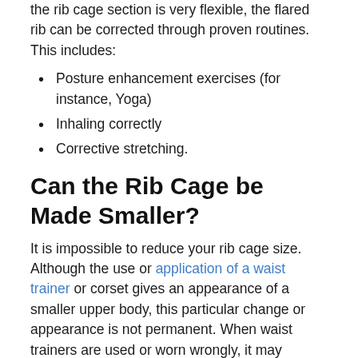the rib cage section is very flexible, the flared rib can be corrected through proven routines. This includes:
Posture enhancement exercises (for instance, Yoga)
Inhaling correctly
Corrective stretching.
Can the Rib Cage be Made Smaller?
It is impossible to reduce your rib cage size. Although the use or application of a waist trainer or corset gives an appearance of a smaller upper body, this particular change or appearance is not permanent. When waist trainers are used or worn wrongly, it may